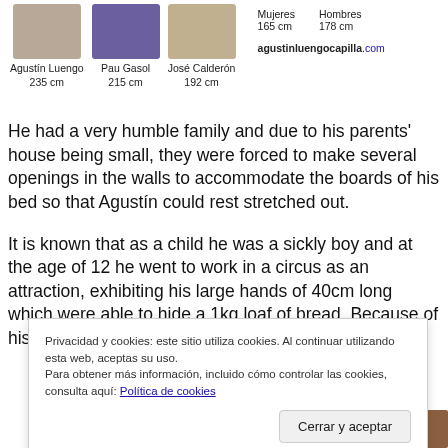[Figure (photo): Three photos of tall Spanish celebrities (Agustín Luengo 235 cm, Pau Gasol 215 cm, José Calderón 192 cm) with height comparison info for Mujeres 165 cm, Hombres 178 cm, and website agustinluengocapilla.com]
He had a very humble family and due to his parents' house being small, they were forced to make several openings in the walls to accommodate the boards of his bed so that Agustín could rest stretched out.
It is known that as a child he was a sickly boy and at the age of 12 he went to work in a circus as an attraction, exhibiting his large hands of 40cm long which were able to hide a 1kg loaf of bread. Because of his fame His Majesty King Alfonso XII
Privacidad y cookies: este sitio utiliza cookies. Al continuar utilizando esta web, aceptas su uso.
Para obtener más información, incluido cómo controlar las cookies, consulta aquí: Política de cookies